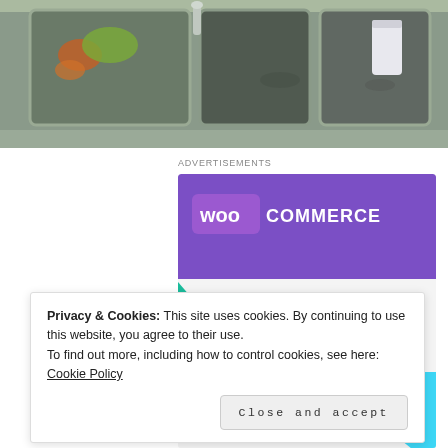[Figure (photo): Photo of a stainless steel kitchen sink with food scraps and a white cup visible in the basins.]
ADVERTISEMENTS
[Figure (illustration): WooCommerce advertisement banner. Purple header with WooCommerce logo, green triangle decoration, blue arc decoration, text reading 'How to start selling subscriptions online'.]
Privacy & Cookies: This site uses cookies. By continuing to use this website, you agree to their use.
To find out more, including how to control cookies, see here: Cookie Policy
Close and accept